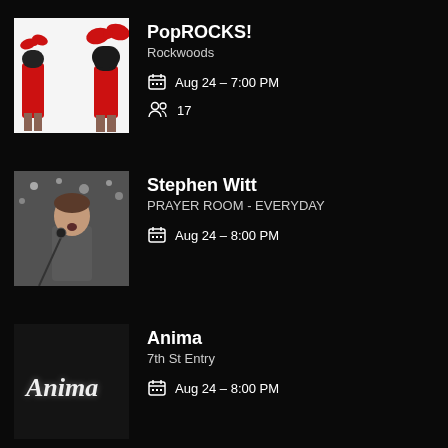[Figure (photo): Two performers in red outfits with red bow accessories on white background (PopROCKS! promotional image)]
PopROCKS!
Rockwoods
Aug 24 – 7:00 PM
17
[Figure (photo): Man singing at a microphone on a dimly lit stage (Stephen Witt promotional image)]
Stephen Witt
PRAYER ROOM - EVERYDAY
Aug 24 – 8:00 PM
[Figure (photo): Dark image with cursive Anima logo text on moody background]
Anima
7th St Entry
Aug 24 – 8:00 PM